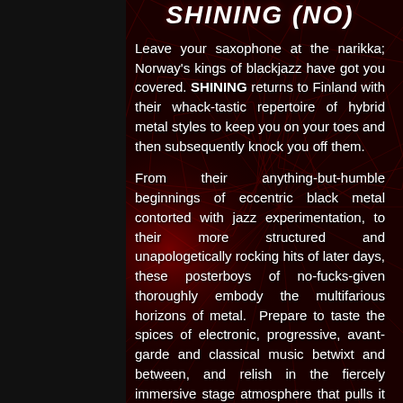SHINING (NO)
Leave your saxophone at the narikka; Norway's kings of blackjazz have got you covered. SHINING returns to Finland with their whack-tastic repertoire of hybrid metal styles to keep you on your toes and then subsequently knock you off them.
From their anything-but-humble beginnings of eccentric black metal contorted with jazz experimentation, to their more structured and unapologetically rocking hits of later days, these posterboys of no-fucks-given thoroughly embody the multifarious horizons of metal. Prepare to taste the spices of electronic, progressive, avant-garde and classical music betwixt and between, and relish in the fiercely immersive stage atmosphere that pulls it all together.